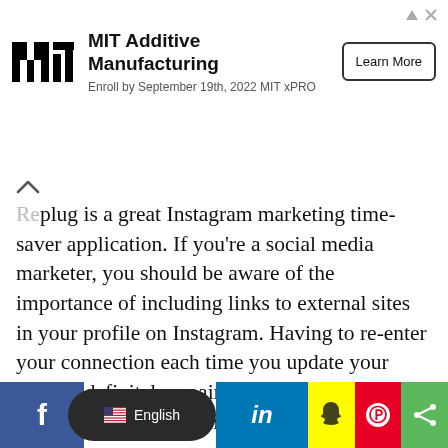[Figure (other): MIT Additive Manufacturing advertisement banner with MIT logo, text 'MIT Additive Manufacturing Enroll by September 19th, 2022 MIT xPRO' and a 'Learn More' button]
...Replug is a great Instagram marketing time-saver application. If you’re a social media marketer, you should be aware of the importance of including links to external sites in your profile on Instagram. Having to re-enter your connection each time you update your blog, is definitely a pain in the long run. This is where Replug comes in handy.
[Figure (screenshot): Replug website screenshot showing the navigation bar with logo, Features, Solutions, Pricing, Use Cases, Integrations, Login links and a green 'Register for free' button on a blue background]
[Figure (other): Social media sharing bar at the bottom with Facebook, English language selector, LinkedIn, Snapchat, Pinterest, and share icons]